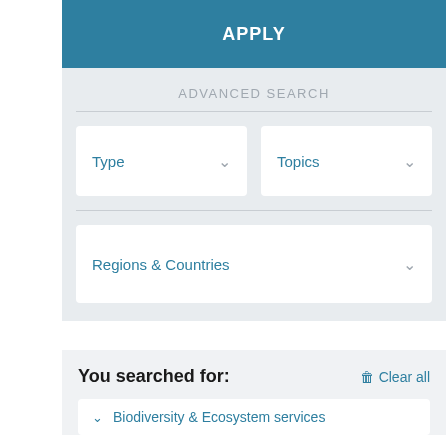APPLY
ADVANCED SEARCH
Type
Topics
Regions & Countries
You searched for:
Clear all
Biodiversity & Ecosystem services